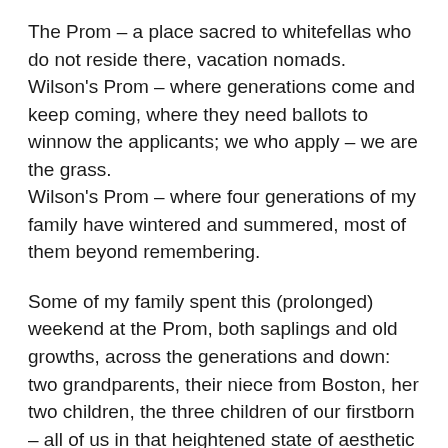The Prom – a place sacred to whitefellas who do not reside there, vacation nomads. Wilson's Prom – where generations come and keep coming, where they need ballots to winnow the applicants; we who apply – we are the grass. Wilson's Prom – where four generations of my family have wintered and summered, most of them beyond remembering.
Some of my family spent this (prolonged) weekend at the Prom, both saplings and old growths, across the generations and down: two grandparents, their niece from Boston, her two children, the three children of our firstborn – all of us in that heightened state of aesthetic rapture as rugged mountains meet a moody sea.
We hiked and climbed great rocks, we jumped from them